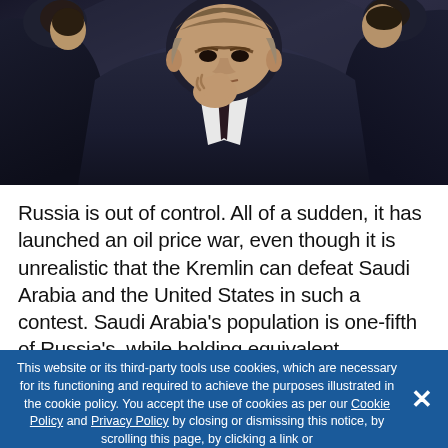[Figure (photo): Men in dark suits, one in the center with hand raised to chin in a contemplative or serious pose, other figures partially visible on left and right sides]
Russia is out of control. All of a sudden, it has launched an oil price war, even though it is unrealistic that the Kremlin can defeat Saudi Arabia and the United States in such a contest. Saudi Arabia's population is one-fifth of Russia's, while holding equivalent international currency reserves.
This website or its third-party tools use cookies, which are necessary for its functioning and required to achieve the purposes illustrated in the cookie policy. You accept the use of cookies as per our Cookie Policy and Privacy Policy by closing or dismissing this notice, by scrolling this page, by clicking a link or